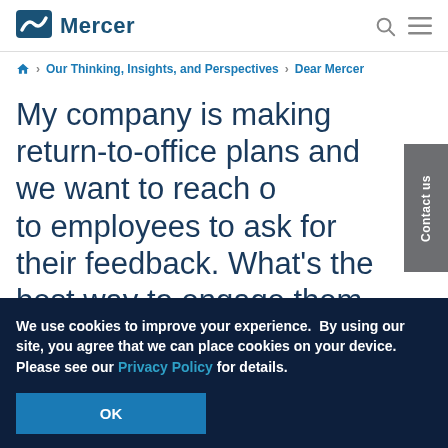Mercer
Our Thinking, Insights, and Perspectives > Dear Mercer
My company is making return-to-office plans and we want to reach out to employees to ask for their feedback. What's the best way to engage them in a dialogue about returning to the office?
We use cookies to improve your experience.  By using our site, you agree that we can place cookies on your device. Please see our Privacy Policy for details.